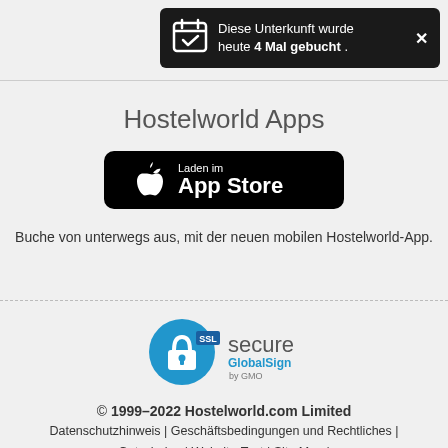Diese Unterkunft wurde heute 4 Mal gebucht .
Hostelworld Apps
[Figure (logo): App Store download button — black rounded rectangle with Apple logo and text 'Laden im App Store']
Buche von unterwegs aus, mit der neuen mobilen Hostelworld-App.
[Figure (logo): SSL secure GlobalSign by GMO badge — blue circle with padlock, SSL label, text 'secure GlobalSign by GMO']
© 1999–2022 Hostelworld.com Limited
Datenschutzhinweis | Geschäftsbedingungen und Rechtliches |
Gutscheine | Website-Test | Site Map |